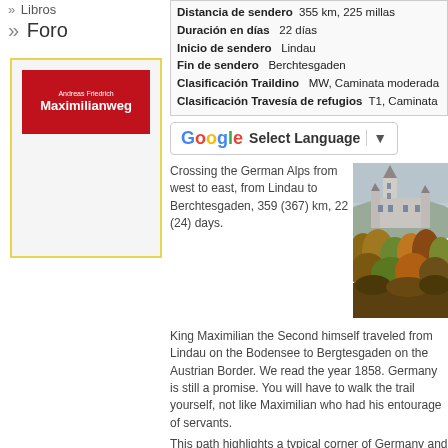» Libros
» Foro
[Figure (photo): Book cover for Maximilianweg by Andreas Friedrich, red cover with white text]
| Distancia de sendero | 355 km, 225 millas |
| Duración en días | 22 días |
| Inicio de sendero | Lindau |
| Fin de sendero | Berchtesgaden |
| Clasificación Traildino | MW, Caminata moderada |
| Clasificación Travesía de refugios | T1, Caminata |
[Figure (other): Google Translate Select Language widget]
Crossing the German Alps from west to east, from Lindau to Berchtesgaden, 359 (367) km, 22 (24) days.
[Figure (photo): Neuschwanstein castle surrounded by autumn forest with misty hills in background]
King Maximilian the Second himself traveled from Lindau on the Bodensee to Bergtesgaden on the Austrian Border. We read the year 1858. Germany is still a promise. You will have to walk the trail yourself, not like Maximilian who had his entourage of servants.
This path highlights a typical corner of Germany and the fantastic castles of "mad" king Ludwig. The trail crosses the Bregenzer Wald, the Allgäuer Alps, the Bavarian Alps, the Chiemgauer Alps and t…